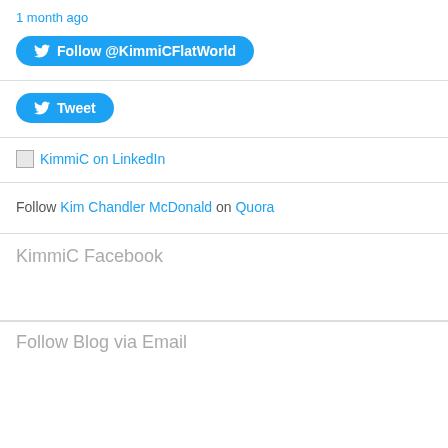1 month ago
[Figure (other): Twitter Follow button: Follow @KimmiCFlatWorld]
[Figure (other): Twitter Tweet button]
[Figure (other): KimmiC on LinkedIn link with broken image icon]
Follow Kim Chandler McDonald on Quora
KimmiC Facebook
Follow Blog via Email